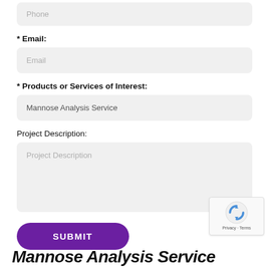Phone
* Email:
Email
* Products or Services of Interest:
Mannose Analysis Service
Project Description:
Project Description
SUBMIT
Privacy · Terms
Mannose Analysis Service